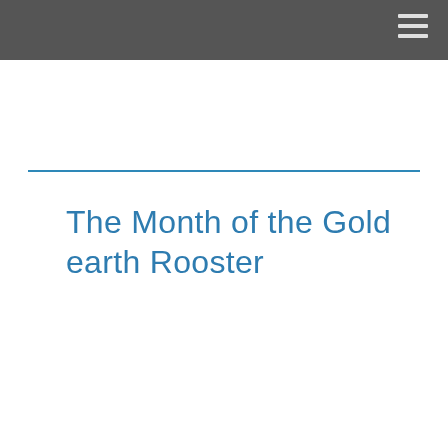The Month of the Gold earth Rooster